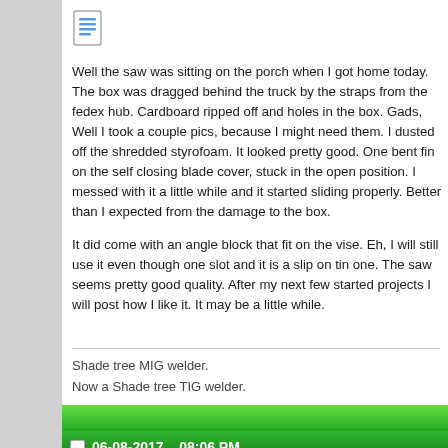[Figure (illustration): Document/post icon - blue lines on white background representing a text document]
Well the saw was sitting on the porch when I got home today. The box was dragged behind the truck by the straps from the fedex hub. Cardboard ripped off and holes in the box. Gads, Well I took a couple pics, because I might need them. I dusted off the shredded styrofoam. It looked pretty good. One bent fin on the self closing blade cover, stuck in the open position. I messed with it a little while and it started sliding properly. Better than I expected from the damage to the box.

It did come with an angle block that fit on the vise. Eh, I will still use it even though one slot and it is a slip on tin one. The saw seems pretty good quality. After my next few started projects I will post how I like it. It may be a little while.
Shade tree MIG welder.
Now a Shade tree TIG welder.
06-08-2017,   08:06 PM
Blaster
Member
[Figure (illustration): Document/post icon - blue lines on white background representing a text document]